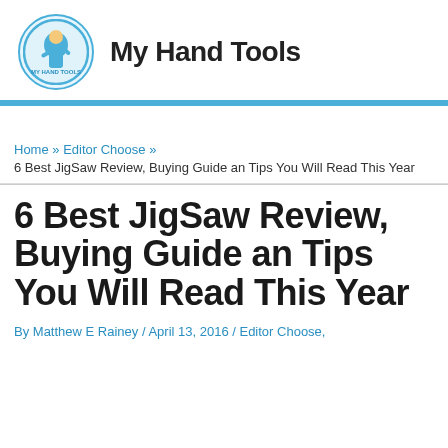My Hand Tools
Home » Editor Choose » 6 Best JigSaw Review, Buying Guide an Tips You Will Read This Year
6 Best JigSaw Review, Buying Guide an Tips You Will Read This Year
By Matthew E Rainey / April 13, 2016 / Editor Choose,